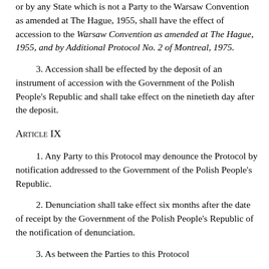or by any State which is not a Party to the Warsaw Convention as amended at The Hague, 1955, shall have the effect of accession to the Warsaw Convention as amended at The Hague, 1955, and by Additional Protocol No. 2 of Montreal, 1975.
3. Accession shall be effected by the deposit of an instrument of accession with the Government of the Polish People's Republic and shall take effect on the ninetieth day after the deposit.
Article IX
1. Any Party to this Protocol may denounce the Protocol by notification addressed to the Government of the Polish People's Republic.
2. Denunciation shall take effect six months after the date of receipt by the Government of the Polish People's Republic of the notification of denunciation.
3. As between the Parties to this Protocol